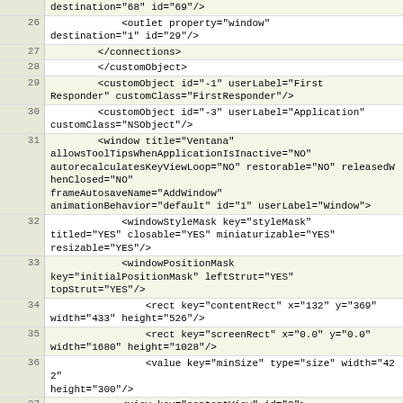| line | code |
| --- | --- |
|  | destination="68" id="69"/> |
| 26 |             <outlet property="window" destination="1" id="29"/> |
| 27 |         </connections> |
| 28 |         </customObject> |
| 29 |         <customObject id="-1" userLabel="First Responder" customClass="FirstResponder"/> |
| 30 |         <customObject id="-3" userLabel="Application" customClass="NSObject"/> |
| 31 |         <window title="Ventana" allowsToolTipsWhenApplicationIsInactive="NO" autorecalculatesKeyViewLoop="NO" restorable="NO" oneShot="NO" releasedWhenClosed="NO" frameAutosaveName="AddWindow" animationBehavior="default" id="1" userLabel="Window"> |
| 32 |             <windowStyleMask key="styleMask" titled="YES" closable="YES" miniaturizable="YES" resizable="YES"/> |
| 33 |             <windowPositionMask key="initialPositionMask" leftStrut="YES" topStrut="YES"/> |
| 34 |                 <rect key="contentRect" x="132" y="369" width="433" height="526"/> |
| 35 |                 <rect key="screenRect" x="0.0" y="0.0" width="1680" height="1028"/> |
| 36 |                 <value key="minSize" type="size" width="422" height="300"/> |
| 37 |             <view key="contentView" id="2"> |
| 38 |                 <rect key="frame" x="0.0" y="0.0" width="433" height="526"/> |
| 39 |                 <autoresizingMask key="autoresizingMask"/> |
| 40 |                 <subviews> |
| 41 |                     <imageView id="3"> |
| 42 |                         <rect key="frame" x="20" y="452 |